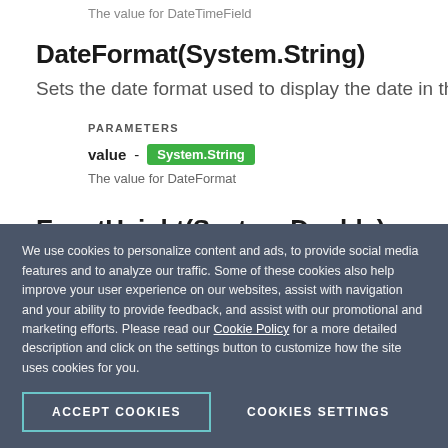The value for DateTimeField
DateFormat(System.String)
Sets the date format used to display the date in the even
PARAMETERS
value - System.String
The value for DateFormat
EventHeight(System.Double)
We use cookies to personalize content and ads, to provide social media features and to analyze our traffic. Some of these cookies also help improve your user experience on our websites, assist with navigation and your ability to provide feedback, and assist with our promotional and marketing efforts. Please read our Cookie Policy for a more detailed description and click on the settings button to customize how the site uses cookies for you.
ACCEPT COOKIES
COOKIES SETTINGS